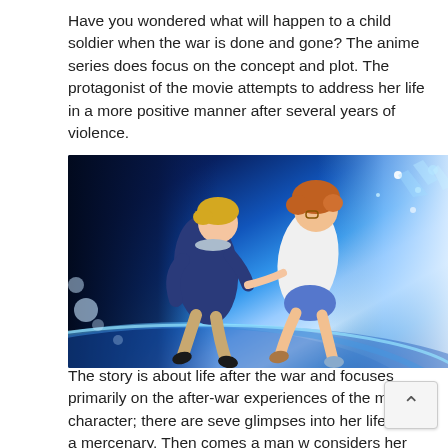Have you wondered what will happen to a child soldier when the war is done and gone? The anime series does focus on the concept and plot. The protagonist of the movie attempts to address her life in a more positive manner after several years of violence.
[Figure (illustration): Anime illustration showing two characters floating in a dramatic blue space/ocean background with crystals and planet imagery. One character on the left wears a dark blue hoodie and tan pants, the other on the right wears a white jacket and blue shorts with brown/orange hair.]
The story is about life after the war and focuses primarily on the after-war experiences of the main character; there are seve glimpses into her life as a mercenary. Then comes a man w considers her as a person even when she does not approve of herself.